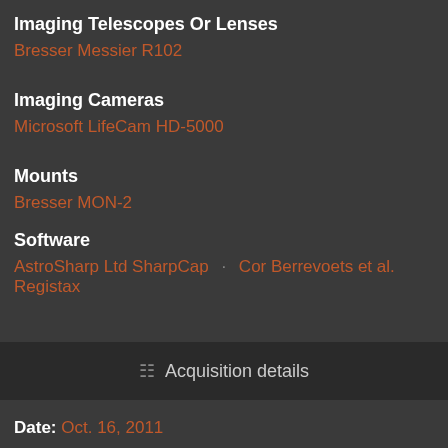Imaging Telescopes Or Lenses
Bresser Messier R102
Imaging Cameras
Microsoft LifeCam HD-5000
Mounts
Bresser MON-2
Software
AstroSharp Ltd SharpCap · Cor Berrevoets et al. Registax
Acquisition details
Date: Oct. 16, 2011